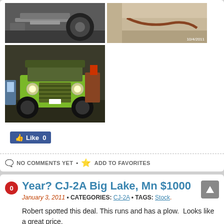[Figure (photo): Two photos in a row: left shows a vehicle chassis/frame with a tire, right shows a garage interior. Below is a large photo of a green CJ-2A Jeep in a garage.]
Like 0
NO COMMENTS YET • ADD TO FAVORITES
Year? CJ-2A Big Lake, Mn $1000
January 3, 2011 • CATEGORIES: CJ-2A • TAGS: Stock.
Robert spotted this deal. This runs and has a plow.  Looks like a great price.
°runs good, rusty fuel tank leaks, plow works good. transfer case